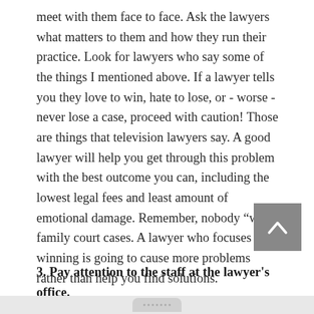meet with them face to face. Ask the lawyers what matters to them and how they run their practice. Look for lawyers who say some of the things I mentioned above. If a lawyer tells you they love to win, hate to lose, or - worse - never lose a case, proceed with caution! Those are things that television lawyers say. A good lawyer will help you get through this problem with the best outcome you can, including the lowest legal fees and least amount of emotional damage. Remember, nobody “wins” family court cases. A lawyer who focuses on winning is going to cause more problems rather than help you find solutions.
3. Pay attention to the staff at the lawyer's office.